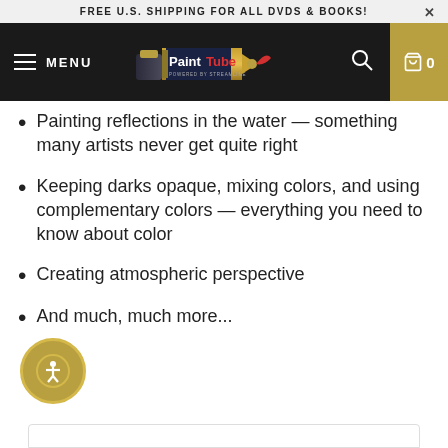FREE U.S. SHIPPING FOR ALL DVDS & BOOKS!
[Figure (logo): PaintTube logo — paint tube graphic with PaintTube text, 'Powered by Streamline' subtitle]
Painting reflections in the water — something many artists never get quite right
Keeping darks opaque, mixing colors, and using complementary colors — everything you need to know about color
Creating atmospheric perspective
And much, much more...